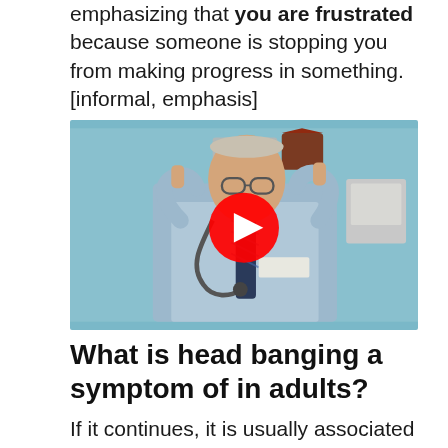emphasizing that you are frustrated because someone is stopping you from making progress in something. [informal, emphasis]
[Figure (photo): Doctor in a medical office with stethoscope and tie, pointing index fingers to his temples, with medical equipment visible on the wall behind him. A YouTube play button overlay is shown in the center of the image.]
What is head banging a symptom of in adults?
If it continues, it is usually associated with